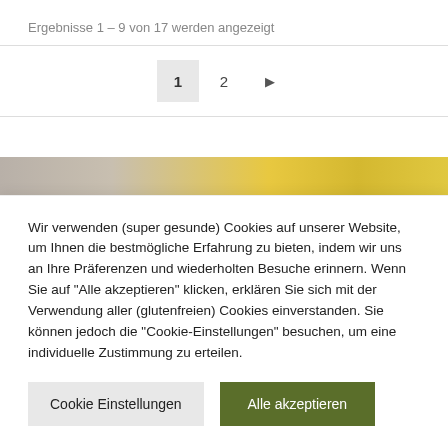Ergebnisse 1 – 9 von 17 werden angezeigt
[Figure (screenshot): Pagination controls showing page 1 (active/highlighted), page 2, and a next arrow button]
[Figure (photo): Partial image strip showing a colorful photo with yellow/gold tones]
Wir verwenden (super gesunde) Cookies auf unserer Website, um Ihnen die bestmögliche Erfahrung zu bieten, indem wir uns an Ihre Präferenzen und wiederholten Besuche erinnern. Wenn Sie auf "Alle akzeptieren" klicken, erklären Sie sich mit der Verwendung aller (glutenfreien) Cookies einverstanden. Sie können jedoch die "Cookie-Einstellungen" besuchen, um eine individuelle Zustimmung zu erteilen.
Cookie Einstellungen
Alle akzeptieren